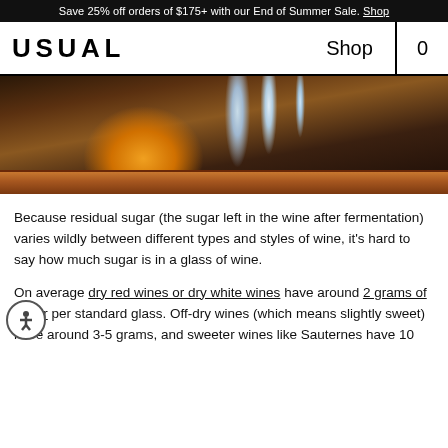Save 25% off orders of $175+ with our End of Summer Sale. Shop
USUAL   Shop   0
[Figure (photo): Dark moody photo of wine bottles on a wooden shelf with warm orange bokeh light and reflections from bottle necks]
Because residual sugar (the sugar left in the wine after fermentation) varies wildly between different types and styles of wine, it's hard to say how much sugar is in a glass of wine.
On average dry red wines or dry white wines have around 2 grams of sugar per standard glass. Off-dry wines (which means slightly sweet) have around 3-5 grams, and sweeter wines like Sauternes have 10